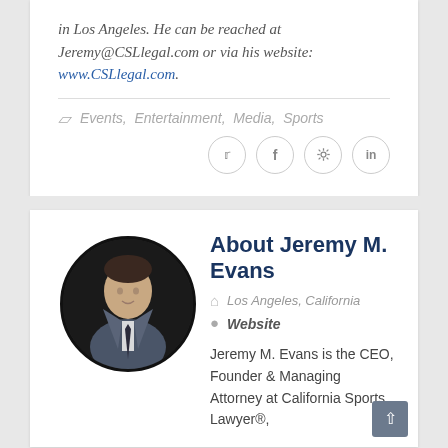in Los Angeles. He can be reached at Jeremy@CSLlegal.com or via his website: www.CSLlegal.com.
Events, Entertainment, Media, Sports
About Jeremy M. Evans
Los Angeles, California
Website
Jeremy M. Evans is the CEO, Founder & Managing Attorney at California Sports Lawyer®,